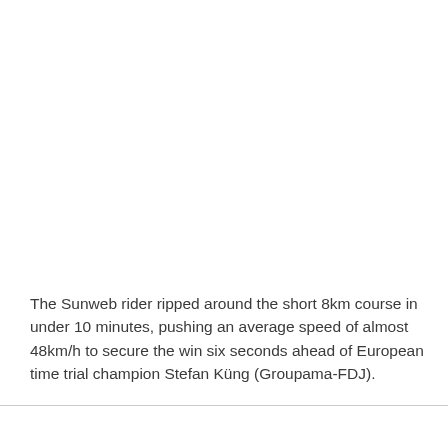The Sunweb rider ripped around the short 8km course in under 10 minutes, pushing an average speed of almost 48km/h to secure the win six seconds ahead of European time trial champion Stefan Küng (Groupama-FDJ).